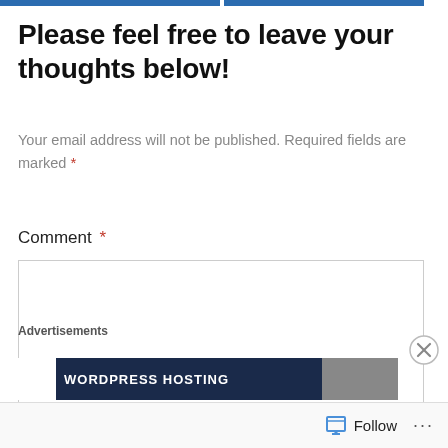Please feel free to leave your thoughts below!
Your email address will not be published. Required fields are marked *
Comment *
[Figure (screenshot): Comment text area input box, empty]
[Figure (screenshot): Advertisements banner showing WORDPRESS HOSTING]
Follow ...